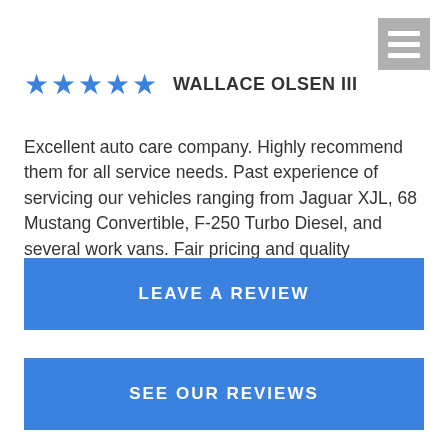[Figure (other): Hamburger menu icon — three horizontal white bars on a grey square background]
★★★★★ WALLACE OLSEN III
Excellent auto care company. Highly recommend them for all service needs. Past experience of servicing our vehicles ranging from Jaguar XJL, 68 Mustang Convertible, F-250 Turbo Diesel, and several work vans. Fair pricing and quality workmanship. Estimates provided prior to work performed. No hidden cost or surprises!!
LEAVE A REVIEW
SEE OUR REVIEWS